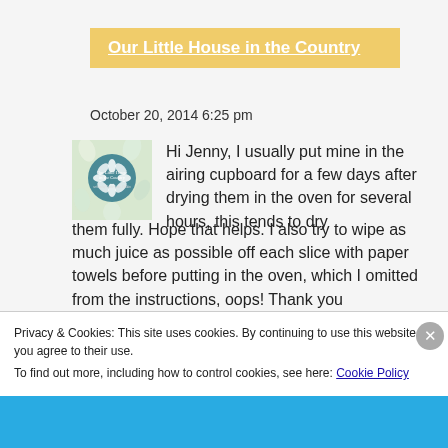Our Little House in the Country
October 20, 2014 6:25 pm
[Figure (illustration): Book cover thumbnail for 'Our Little House in the Country' — teal circular logo with floral background]
Hi Jenny, I usually put mine in the airing cupboard for a few days after drying them in the oven for several hours, this tends to dry them fully. Hope that helps. I also try to wipe as much juice as possible off each slice with paper towels before putting in the oven, which I omitted from the instructions, oops! Thank you
Privacy & Cookies: This site uses cookies. By continuing to use this website, you agree to their use.
To find out more, including how to control cookies, see here: Cookie Policy
Close and accept